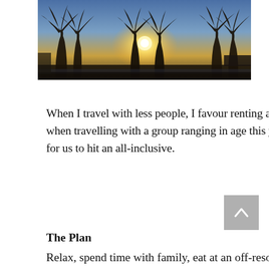[Figure (photo): Silhouette of palm trees against a bright sunset sky at a tropical resort, warm golden tones with a pool area visible below]
When I travel with less people, I favour renting a home or staying at a boutique hotel but when travelling with a group ranging in age this year from 12 to 82, it made better sense for us to hit an all-inclusive.
The Plan
Relax, spend time with family, eat at an off-resort Cuban restaurant, visit Havana and get on a boat to go somewhere. With the